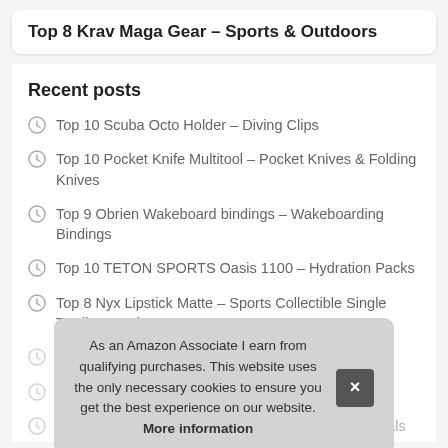Top 8 Krav Maga Gear – Sports & Outdoors
Recent posts
Top 10 Scuba Octo Holder – Diving Clips
Top 10 Pocket Knife Multitool – Pocket Knives & Folding Knives
Top 9 Obrien Wakeboard bindings – Wakeboarding Bindings
Top 10 TETON SPORTS Oasis 1100 – Hydration Packs
Top 8 Nyx Lipstick Matte – Sports Collectible Single Trading Cards
T…
T… Men…
Top 8 Naval Academy Decal – Sports Fan Auto Decals
As an Amazon Associate I earn from qualifying purchases. This website uses the only necessary cookies to ensure you get the best experience on our website. More information